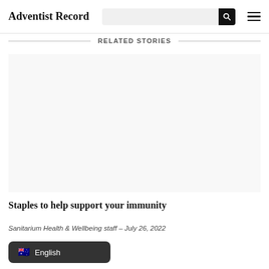Adventist Record
RELATED STORIES
[Figure (photo): Card image placeholder for related story about immunity staples]
Staples to help support your immunity
Sanitarium Health & Wellbeing staff – July 26, 2022
English